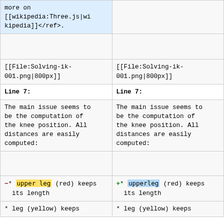| Left | Right |
| --- | --- |
| (partial, blue highlighted) more on [[wikipedia:Three.js|wikipedia]]</ref>. | (empty) |
| (empty) | (empty) |
| [[File:Solving-ik-001.png|800px]] | [[File:Solving-ik-001.png|800px]] |
| Line 7: | Line 7: |
| The main issue seems to be the computation of the knee position. All distances are easily computed: | The main issue seems to be the computation of the knee position. All distances are easily computed: |
| (empty) | (empty) |
| -* upper leg (red) keeps its length | +* upperleg (red) keeps its length |
| * leg (yellow) keeps | * leg (yellow) keeps |